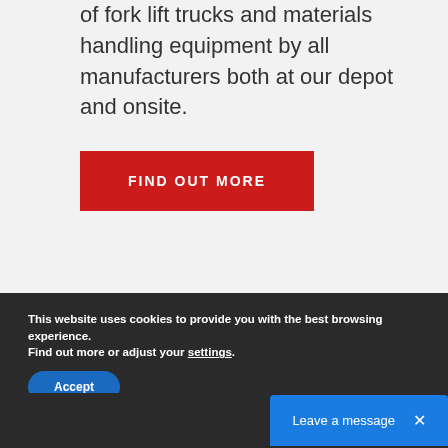of fork lift trucks and materials handling equipment by all manufacturers both at our depot and onsite.
FIND OUT MORE
This website uses cookies to provide you with the best browsing experience.
Find out more or adjust your settings.
Accept
Leave a message